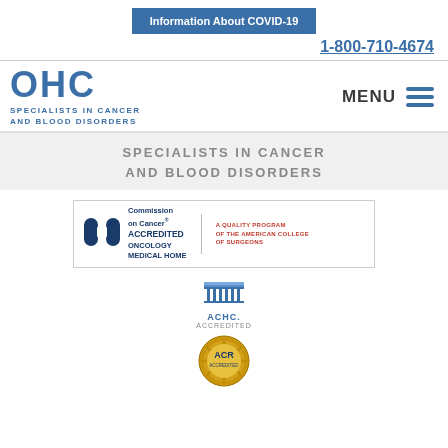[Figure (screenshot): Blue button with text 'Information About COVID-19']
1-800-710-4674
[Figure (logo): OHC logo - large blue letters 'OHC' with tagline 'SPECIALISTS IN CANCER AND BLOOD DISORDERS']
[Figure (other): MENU hamburger icon with three blue horizontal lines]
SPECIALISTS IN CANCER AND BLOOD DISORDERS
[Figure (logo): Commission on Cancer Accredited Oncology Medical Home logo - A Quality Program of the American College of Surgeons]
[Figure (logo): ACHC Accredited logo with building icon]
[Figure (logo): ACR gold seal/badge]